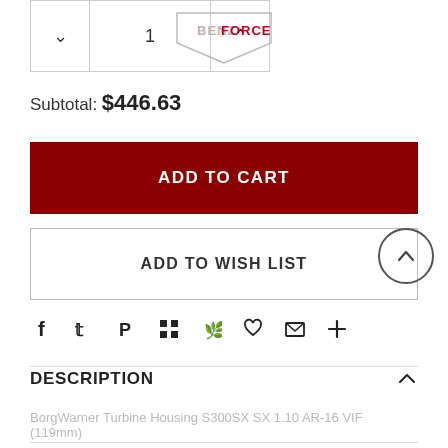[Figure (logo): BenzForce logo at top center]
Subtotal: $446.63
ADD TO CART
ADD TO WISH LIST
[Figure (other): Social sharing icons: Facebook, Twitter, Pinterest, Grid, Fancy, Heart, Email, Plus]
DESCRIPTION
BorgWarner Turbine Housing S300SX SX 1.10 AR-16 VIF (119mm)